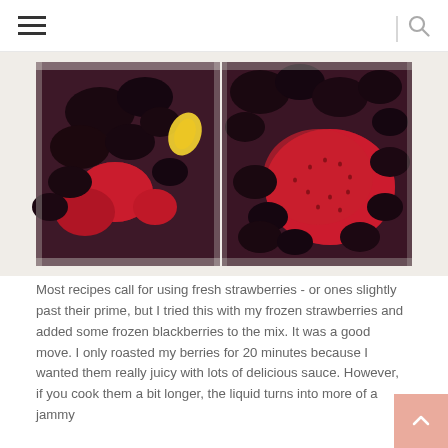≡ | 🔍
[Figure (photo): Two side-by-side photos of roasted mixed berries (strawberries and blackberries) in glass baking dishes. Left photo shows the full dish with a yellow lemon wedge visible; right photo is a close-up showing a large strawberry surrounded by blackberries in dark berry sauce.]
Most recipes call for using fresh strawberries - or ones slightly past their prime, but I tried this with my frozen strawberries and added some frozen blackberries to the mix. It was a good move. I only roasted my berries for 20 minutes because I wanted them really juicy with lots of delicious sauce. However, if you cook them a bit longer, the liquid turns into more of a jammy